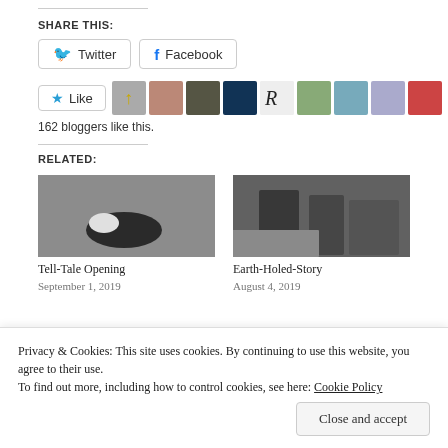SHARE THIS:
[Figure (screenshot): Twitter and Facebook share buttons]
[Figure (screenshot): Like button with 9 blogger avatars and text '162 bloggers like this.']
162 bloggers like this.
RELATED:
[Figure (photo): Black and white photo: person and dog on ground]
Tell-Tale Opening
September 1, 2019
[Figure (photo): Black and white street photo: people walking]
Earth-Holed-Story
August 4, 2019
Privacy & Cookies: This site uses cookies. By continuing to use this website, you agree to their use.
To find out more, including how to control cookies, see here: Cookie Policy